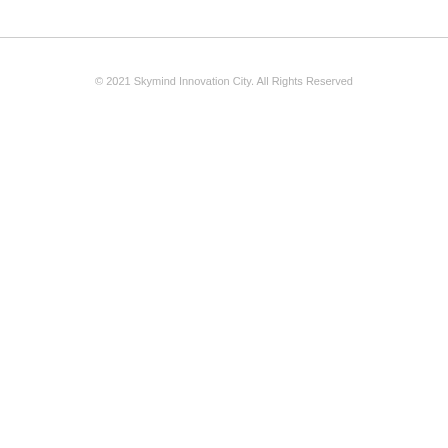© 2021 Skymind Innovation City. All Rights Reserved